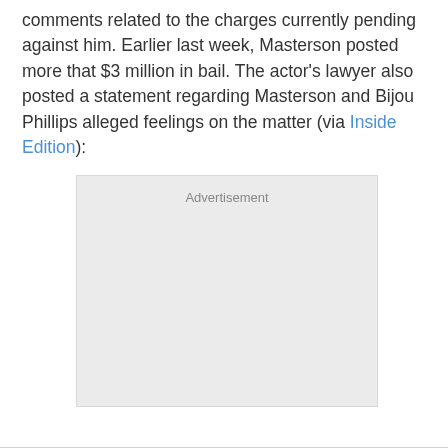comments related to the charges currently pending against him. Earlier last week, Masterson posted more that $3 million in bail. The actor's lawyer also posted a statement regarding Masterson and Bijou Phillips alleged feelings on the matter (via Inside Edition):
[Figure (other): Advertisement placeholder box with light grey background and 'Advertisement' label at top center]